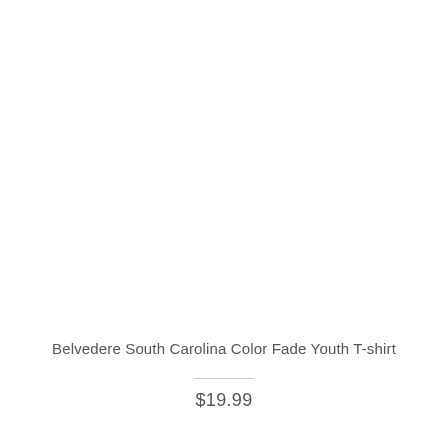[Figure (photo): Product image area — white/blank, no visible image rendered]
Belvedere South Carolina Color Fade Youth T-shirt
$19.99